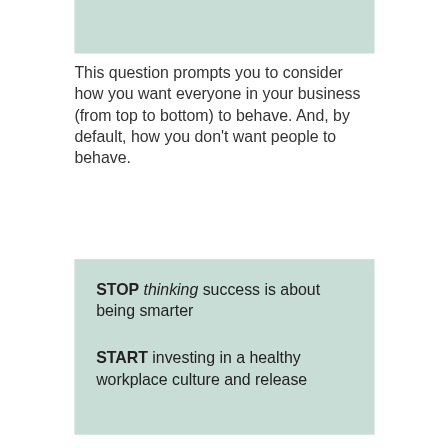[Figure (other): Light teal/green colored rectangle at the top of the page]
This question prompts you to consider how you want everyone in your business (from top to bottom) to behave. And, by default, how you don't want people to behave.
STOP thinking success is about being smarter

START investing in a healthy workplace culture and release the potential in statistics